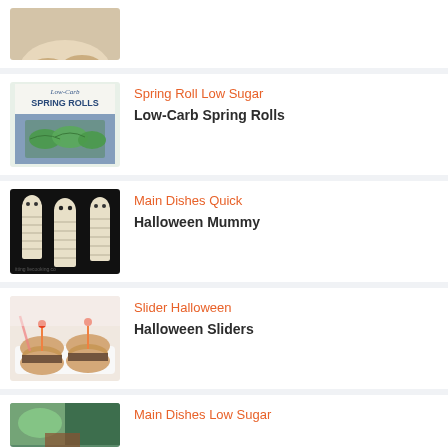[Figure (photo): Partial view of spring rolls on a plate, cut off at top]
[Figure (photo): Low-Carb Spring Rolls book cover with cabbage spring rolls on a blue tray]
Spring Roll Low Sugar
Low-Carb Spring Rolls
[Figure (photo): Halloween mummy hot dogs on sticks against black background]
Main Dishes Quick
Halloween Mummy
[Figure (photo): Halloween sliders on a white plate with decorative picks]
Slider Halloween
Halloween Sliders
[Figure (photo): Partial view of a dish for Main Dishes Low Sugar entry]
Main Dishes Low Sugar